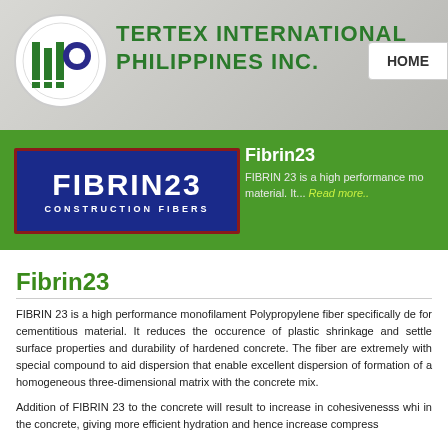[Figure (logo): Tertex International Philippines Inc. company logo with circular emblem containing green vertical bars and blue circle, alongside company name in green text]
HOME
[Figure (logo): FIBRIN23 Construction Fibers product logo on blue background with red border]
Fibrin23
FIBRIN 23 is a high performance mo... material. It... Read more..
Fibrin23
FIBRIN 23 is a high performance monofilament Polypropylene fiber specifically de for cementitious material. It reduces the occurence of plastic shrinkage and settle surface properties and durability of hardened concrete. The fiber are extremely with special compound to aid dispersion that enable excellent dispersion of formation of a homogeneous three-dimensional matrix with the concrete mix.
Addition of FIBRIN 23 to the concrete will result to increase in cohesivenesss whi in the concrete, giving more efficient hydration and hence increase compress